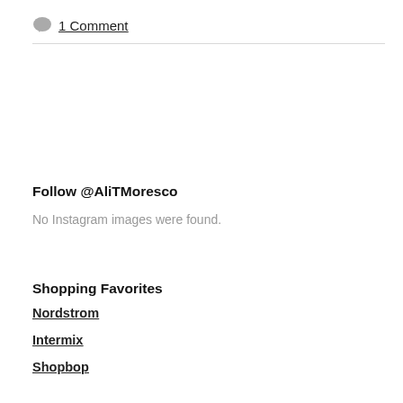1 Comment
Follow @AliTMoresco
No Instagram images were found.
Shopping Favorites
Nordstrom
Intermix
Shopbop